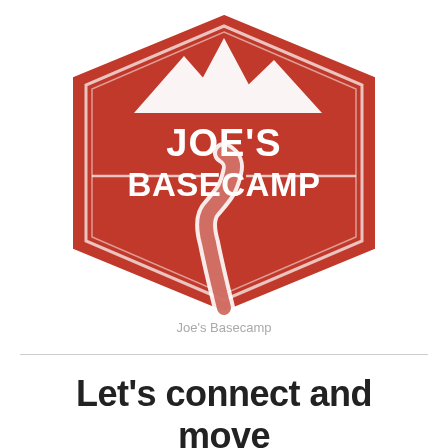[Figure (logo): Joe's Basecamp logo: red hexagon badge with white mountain silhouette at top and winding road/path at bottom, bold white text 'JOE'S BASECAMP' in center]
Joe's Basecamp
Let's connect and move together